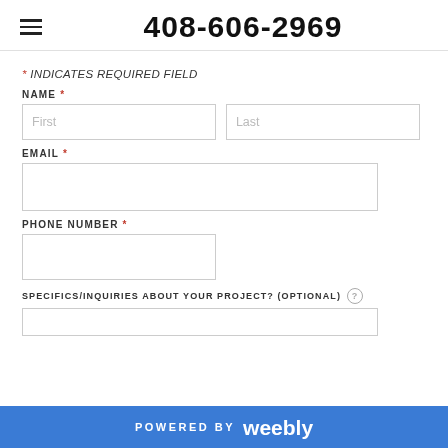408-606-2969
* INDICATES REQUIRED FIELD
NAME *
First | Last
EMAIL *
PHONE NUMBER *
SPECIFICS/INQUIRIES ABOUT YOUR PROJECT? (OPTIONAL)
POWERED BY weebly